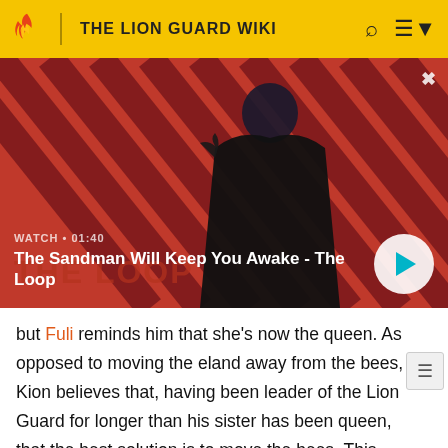THE LION GUARD WIKI
[Figure (screenshot): Video thumbnail showing a dark-cloaked figure with a crow on their shoulder against a red diagonal striped background. Shows 'THE LOOP' branding. Overlay text: WATCH • 01:40. Title: The Sandman Will Keep You Awake - The Loop]
but Fuli reminds him that she's now the queen. As opposed to moving the eland away from the bees, Kion believes that, having been leader of the Lion Guard for longer than his sister has been queen, that the best solution is to move the bees. This plan backfires, and the